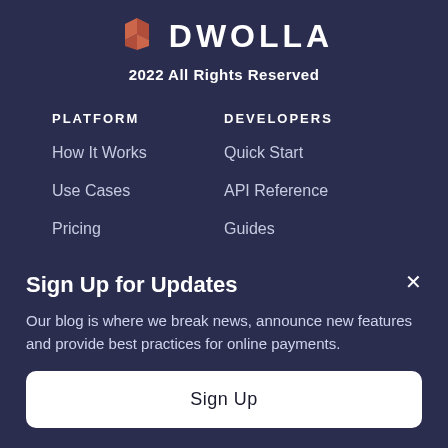[Figure (logo): Dwolla logo with orange geometric hexagon icon and DWOLLA wordmark in white]
2022 All Rights Reserved
PLATFORM
DEVELOPERS
How It Works
Quick Start
Use Cases
API Reference
Pricing
Guides
Platform Features
Pre-built
Sign Up for Updates
Our blog is where we break news, announce new features and provide best practices for online payments.
Sign Up